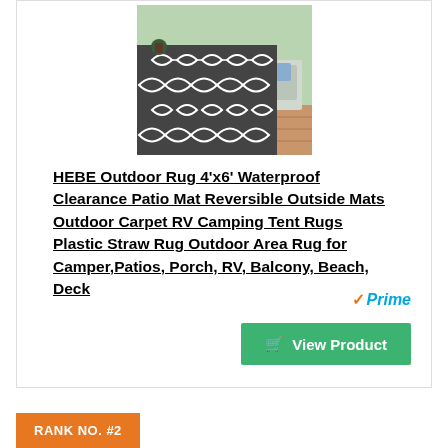[Figure (photo): Outdoor rug with black and white geometric lattice/trellis pattern shown on a patio deck with patio furniture in the background]
HEBE Outdoor Rug 4'x6' Waterproof Clearance Patio Mat Reversible Outside Mats Outdoor Carpet RV Camping Tent Rugs Plastic Straw Rug Outdoor Area Rug for Camper,Patios, Porch, RV, Balcony, Beach, Deck
View Product
RANK NO. #2